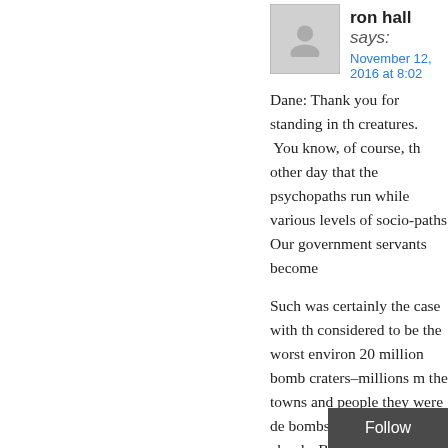ron hall says: November 12, 2016 at 8:02
Dane: Thank you for standing in th creatures. You know, of course, th other day that the psychopaths run while various levels of socio-paths Our government servants become
Such was certainly the case with th considered to be the worst environ 20 million bomb craters–millions m the towns and people they were de bombs from above the clouds. Bel unknown to most Americans today the horrors of nation-states. I nee somehow care. http://apjjf.org/2012
Follow